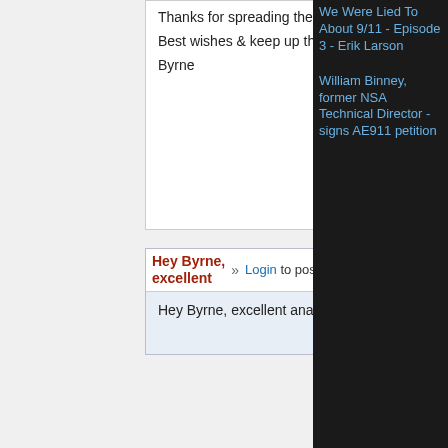Thanks for spreading the information.

Best wishes & keep up the good work

Byrne
Byrne (not verified) on Sun, 01/15/2006 - 10:31p
Hey Byrne, excellent
Login to post comments   0 votes
Hey Byrne, excellent analysis...
somebigguy (not verified) on Wed, 01/18/2006 - 9:15a
We Were Lied To About 9/11 - Episode 3 - Erik Larson
William Binney, former NSA Technical Director - signs AE911 petition